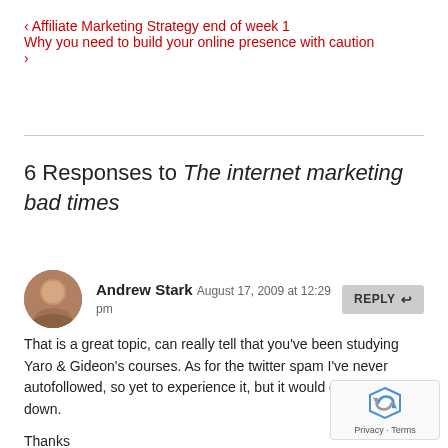‹ Affiliate Marketing Strategy end of week 1
Why you need to build your online presence with caution ›
6 Responses to The internet marketing bad times
Andrew Stark  August 17, 2009 at 12:29 pm
That is a great topic, can really tell that you've been studying Yaro & Gideon's courses. As for the twitter spam I've never autofollowed, so yet to experience it, but it would definately be a down.

Thanks

Andrew